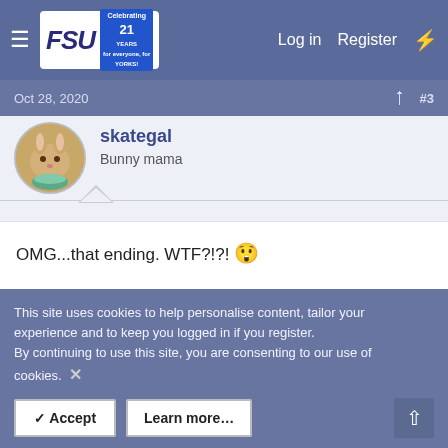FSU | Log in | Register
Oct 28, 2020  #3
skategal
Bunny mama
OMG...that ending. WTF?!?! 😲

I'm still loving Beth. She is the best character on the show. 🤩
👍 HeatherC
This site uses cookies to help personalise content, tailor your experience and to keep you logged in if you register.
By continuing to use this site, you are consenting to our use of cookies.
✓ Accept
Learn more…